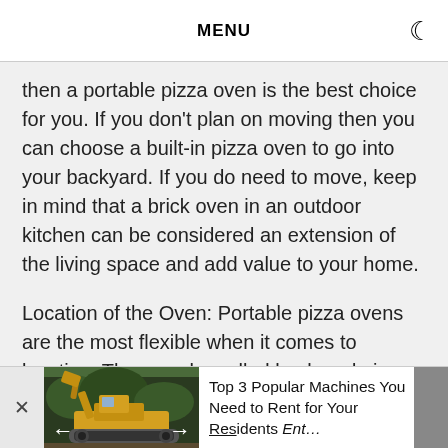MENU
then a portable pizza oven is the best choice for you. If you don't plan on moving then you can choose a built-in pizza oven to go into your backyard. If you do need to move, keep in mind that a brick oven in an outdoor kitchen can be considered an extension of the living space and add value to your home.
Location of the Oven: Portable pizza ovens are the most flexible when it comes to location. They can be called backyard pizza ovens because they can be moved around the background. If you want to install an assembled oven then you want to test the
[Figure (photo): Advertisement banner at bottom showing an excavator/construction machine photo with left and right navigation arrows, close button, and text reading 'Top 3 Popular Machines You Need to Rent for Your [construction project]' alongside a gray scrollbar element]